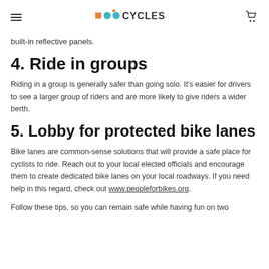LOCO CYCLES
built-in reflective panels.
4. Ride in groups
Riding in a group is generally safer than going solo. It's easier for drivers to see a larger group of riders and are more likely to give riders a wider berth.
5. Lobby for protected bike lanes
Bike lanes are common-sense solutions that will provide a safe place for cyclists to ride. Reach out to your local elected officials and encourage them to create dedicated bike lanes on your local roadways. If you need help in this regard, check out www.peopleforbikes.org.
Follow these tips, so you can remain safe while having fun on two